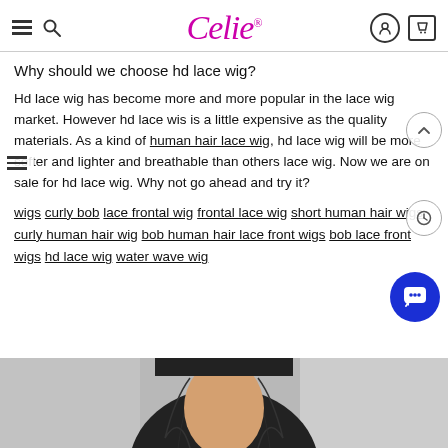Celie® — navigation header with hamburger, search, logo, user and cart icons
Why should we choose hd lace wig?
Hd lace wig has become more and more popular in the lace wig market. However hd lace wis is a little expensive as the quality materials. As a kind of human hair lace wig, hd lace wig will be more softer and lighter and breathable than others lace wig. Now we are on sale for hd lace wig. Why not go ahead and try it?
wigs  curly bob  lace frontal wig  frontal lace wig  short human hair wigs  curly human hair wig  bob human hair lace front wigs  bob lace front wigs  hd lace wig  water wave wig
[Figure (photo): Partial photo of a person wearing a dark hair wig, shown from the head area against a grey background]